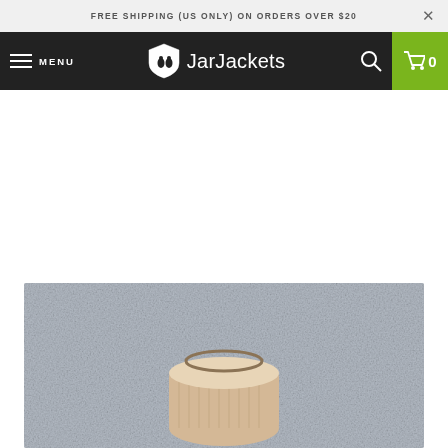FREE SHIPPING (US ONLY) ON ORDERS OVER $20
MENU  JarJackets  0
[Figure (photo): Product photo showing a jar with a knitted/crocheted cover on a gray textured background]